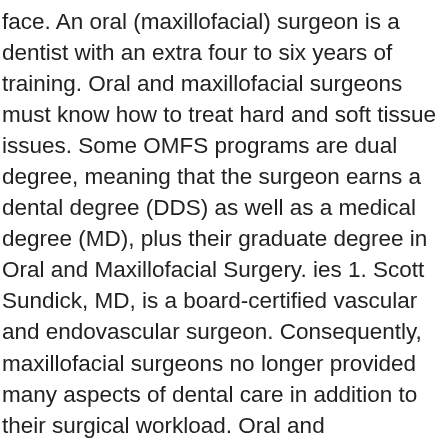face. An oral (maxillofacial) surgeon is a dentist with an extra four to six years of training. Oral and maxillofacial surgeons must know how to treat hard and soft tissue issues. Some OMFS programs are dual degree, meaning that the surgeon earns a dental degree (DDS) as well as a medical degree (MD), plus their graduate degree in Oral and Maxillofacial Surgery. ies 1. Scott Sundick, MD, is a board-certified vascular and endovascular surgeon. Consequently, maxillofacial surgeons no longer provided many aspects of dental care in addition to their surgical workload. Oral and maxillofacial surgeons are dental specialists who treat conditions, defects, injuries and esthetic aspects of the mouth, teeth, jaws and face. An oral and maxillofacial surgeon is a regional specialist surgeon who treats the entire craniomaxillofacial complex: anatomical areas of the mouth, jaws, face, and skull, head and neck as well as associated structures. These surgeons may perform procedures to help the sinuses work better, to reconstruct broken bones, or to improve the appearance of congenital defects such as a cleft